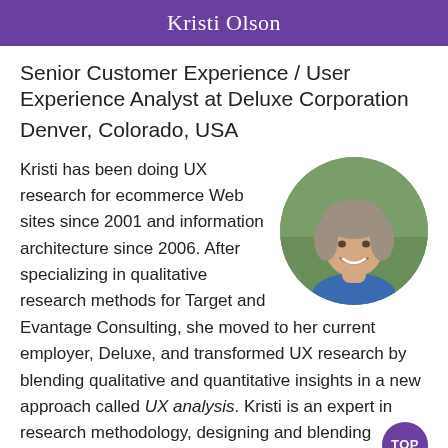Kristi Olson
Senior Customer Experience / User Experience Analyst at Deluxe Corporation
Denver, Colorado, USA
[Figure (photo): Circular headshot photo of Kristi Olson, a woman with gray-brown hair, smiling, wearing a blue top, with a blurred outdoor background.]
Kristi has been doing UX research for ecommerce Web sites since 2001 and information architecture since 2006. After specializing in qualitative research methods for Target and Evantage Consulting, she moved to her current employer, Deluxe, and transformed UX research by blending qualitative and quantitative insights in a new approach called UX analysis. Kristi is an expert in research methodology, designing and blending methods of research, and discovering creative